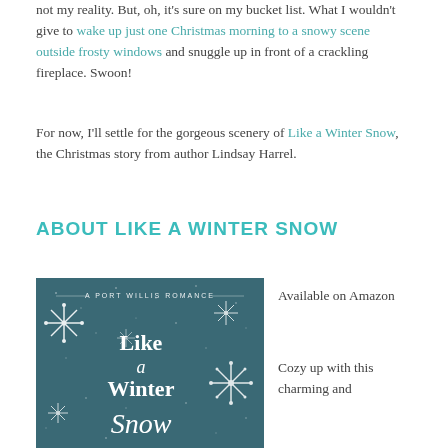not my reality. But, oh, it's sure on my bucket list. What I wouldn't give to wake up just one Christmas morning to a snowy scene outside frosty windows and snuggle up in front of a crackling fireplace. Swoon!
For now, I'll settle for the gorgeous scenery of Like a Winter Snow, the Christmas story from author Lindsay Harrel.
ABOUT LIKE A WINTER SNOW
[Figure (photo): Book cover of 'Like a Winter Snow' — A Port Willis Romance, showing snowflakes on a dark teal background with the book title in white script lettering.]
Available on Amazon
Cozy up with this charming and